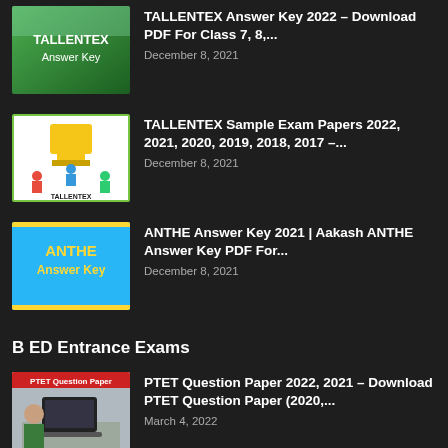TALLENTEX Answer Key 2022 – Download PDF For Class 7, 8,...
December 8, 2021
TALLENTEX Sample Exam Papers 2022, 2021, 2020, 2019, 2018, 2017 –...
December 8, 2021
ANTHE Answer Key 2021 | Aakash ANTHE Answer Key PDF For...
December 8, 2021
B ED Entrance Exams
PTET Question Paper 2022, 2021 – Download PTET Question Paper (2020,...
March 4, 2022
...